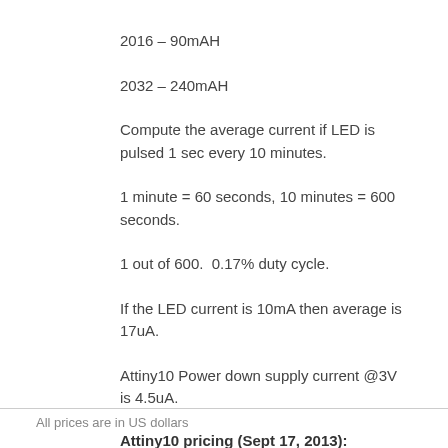2016 – 90mAH
2032 – 240mAH
Compute the average current if LED is pulsed 1 sec every 10 minutes.
1 minute = 60 seconds, 10 minutes = 600 seconds.
1 out of 600.  0.17% duty cycle.
If the LED current is 10mA then average is 17uA.
Attiny10 Power down supply current @3V is 4.5uA.
Attiny10 pricing (Sept 17, 2013):
All prices are in US dollars